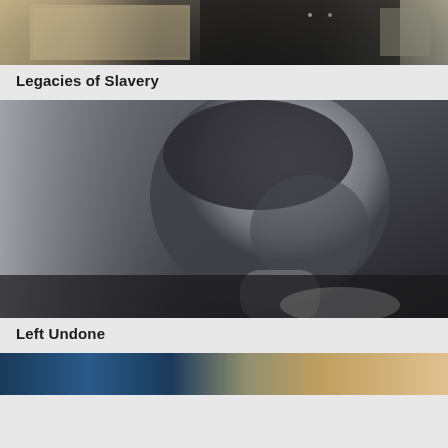[Figure (photo): Cropped top portion of a photograph showing what appears to be boxes or archival materials in muted brown and dark tones]
Legacies of Slavery
[Figure (photo): Black and white close-up portrait of a man in profile, looking downward, with dark hair and stubble, contemplative expression]
Left Undone
[Figure (photo): Partial bottom edge of a third photograph showing colorful tones, cropped off at bottom of page]